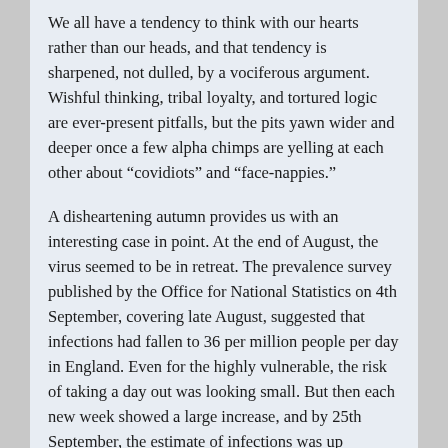We all have a tendency to think with our hearts rather than our heads, and that tendency is sharpened, not dulled, by a vociferous argument. Wishful thinking, tribal loyalty, and tortured logic are ever-present pitfalls, but the pits yawn wider and deeper once a few alpha chimps are yelling at each other about “covidiots” and “face-nappies.”
A disheartening autumn provides us with an interesting case in point. At the end of August, the virus seemed to be in retreat. The prevalence survey published by the Office for National Statistics on 4th September, covering late August, suggested that infections had fallen to 36 per million people per day in England. Even for the highly vulnerable, the risk of taking a day out was looking small. But then each new week showed a large increase, and by 25th September, the estimate of infections was up